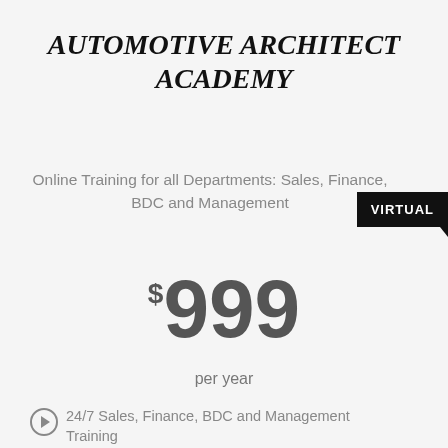AUTOMOTIVE ARCHITECT ACADEMY
Online Training for all Departments: Sales, Finance, BDC and Management
VIRTUAL
$999 per year
24/7 Sales, Finance, BDC and Management Training